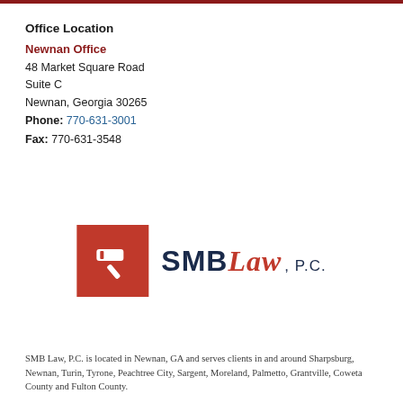Office Location
Newnan Office
48 Market Square Road
Suite C
Newnan, Georgia 30265
Phone: 770-631-3001
Fax: 770-631-3548
[Figure (logo): SMB Law, P.C. logo with red square containing white gavel icon and text SMB Law, P.C.]
SMB Law, P.C. is located in Newnan, GA and serves clients in and around Sharpsburg, Newnan, Turin, Tyrone, Peachtree City, Sargent, Moreland, Palmetto, Grantville, Coweta County and Fulton County.